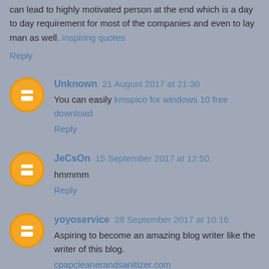can lead to highly motivated person at the end which is a day to day requirement for most of the companies and even to lay man as well. inspiring quotes
Reply
Unknown 21 August 2017 at 21:38
You can easily kmspico for windows 10 free download
Reply
JeCsOn 15 September 2017 at 12:50
hmmmm
Reply
yoyoservice 28 September 2017 at 10:16
Aspiring to become an amazing blog writer like the writer of this blog.
cpapcleanerandsanitizer.com